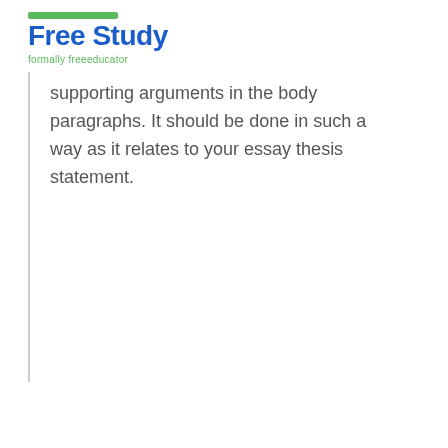Free Study formally freeeducator
supporting arguments in the body paragraphs. It should be done in such a way as it relates to your essay thesis statement.